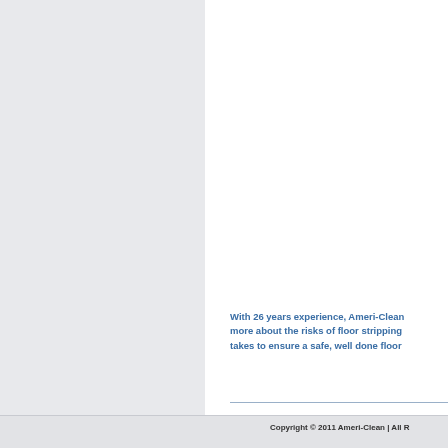With 26 years experience, Ameri-Clean more about the risks of floor stripping takes to ensure a safe, well done floor
Copyright © 2011 Ameri-Clean | All R